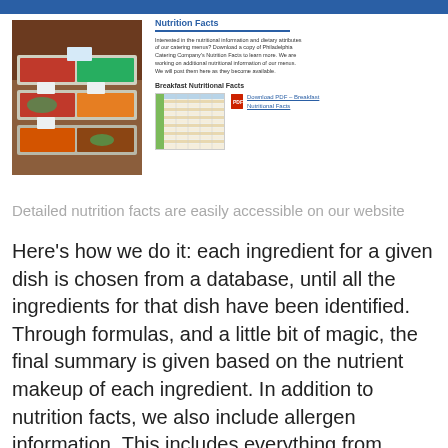[Figure (photo): Photo of catering food trays with various dishes in aluminum pans]
Nutrition Facts
Interested in the nutritional information and dietary attributes of our catering menus? Download a copy of Philadelphia Catering Company's Nutrition Facts to learn more. We are working on additional nutritional information of our menus. We will post them here as they become available.
Breakfast Nutritional Facts
[Figure (screenshot): Thumbnail screenshot of a nutritional facts spreadsheet/table PDF]
Download PDF – Breakfast Nutritional Facts
Detailed nutrition facts are easily accessible on our website
Here's how we do it: each ingredient for a given dish is chosen from a database, until all the ingredients for that dish have been identified. Through formulas, and a little bit of magic, the final summary is given based on the nutrient makeup of each ingredient. In addition to nutrition facts, we also include allergen information. This includes everything from vegan, to gluten free, to egg free and more.